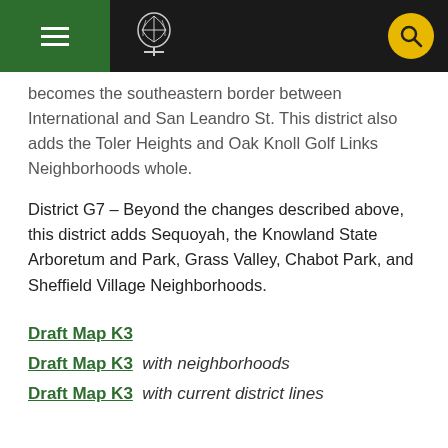City of Oakland header with navigation
becomes the southeastern border between International and San Leandro St. This district also adds the Toler Heights and Oak Knoll Golf Links Neighborhoods whole.
District G7 – Beyond the changes described above, this district adds Sequoyah, the Knowland State Arboretum and Park, Grass Valley, Chabot Park, and Sheffield Village Neighborhoods.
Draft Map K3
Draft Map K3  with neighborhoods
Draft Map K3  with current district lines